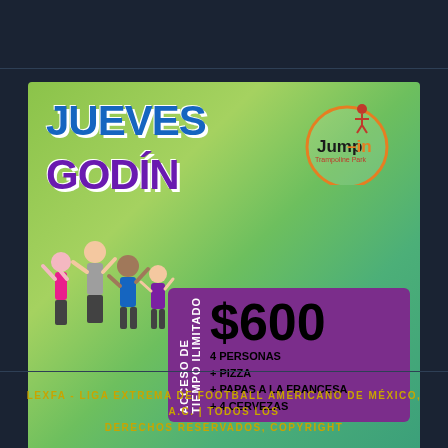[Figure (infographic): Jueves Godín promotional advertisement for Jump-in Trampoline Park. Green gradient background with people jumping illustration. Features '$600 4 personas + pizza + papas a la francesa + 4 cervezas' deal in purple box with 'Acceso de Tiempo Ilimitado' label. Jump-in logo with orange circle. Bottom text: 'No incluye calcetines' and 'Aplican restricciones.']
LEXFA - LIGA EXTREMA DE FOOTBALL AMERICANO DE MÉXICO, A.C. | TODOS LOS DERECHOS RESERVADOS, COPYRIGHT